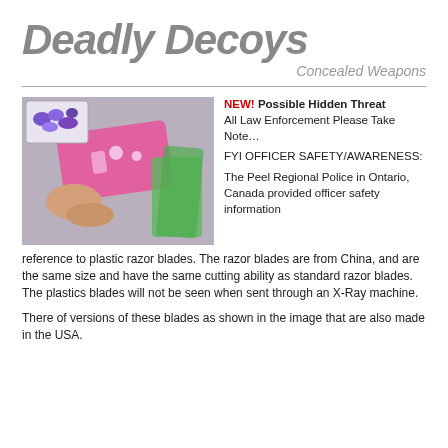Deadly Decoys
Concealed Weapons
[Figure (photo): Photo of pink plastic razor blades being held between fingers, with green plastic razor blades in background, and a small inset image of blue plastic razor blades in top-left corner.]
NEW! Possible Hidden Threat
All Law Enforcement Please Take Note…

FYI OFFICER SAFETY/AWARENESS:

The Peel Regional Police in Ontario, Canada provided officer safety information reference to plastic razor blades. The razor blades are from China, and are the same size and have the same cutting ability as standard razor blades.  The plastics blades will not be seen when sent through an X-Ray machine.
There of versions of these blades as shown in the image that are also made in the USA.